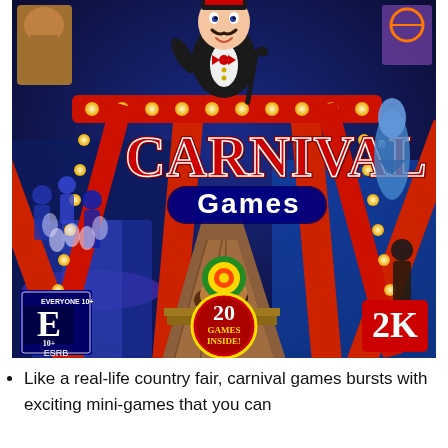[Figure (illustration): Carnival Games video game box art showing a cartoon carnival barker character with mustache and bow tie, various carnival game scenes including bowling, basketball, ring toss, and skee-ball. The title reads 'CARNIVAL Games' in large stylized text. Bottom left shows ESRB E10+ rating. Center bottom shows '20 GAMES INSIDE!' badge. Bottom right shows 2K publisher logo.]
Like a real-life country fair, carnival games bursts with exciting mini-games that you can